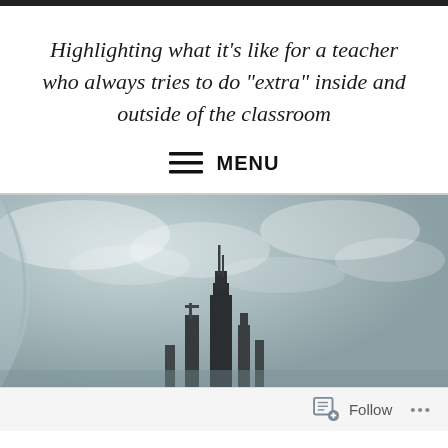Highlighting what it's like for a teacher who always tries to do "extra" inside and outside of the classroom
≡ MENU
[Figure (photo): Aerial or ground-level view of city skyscrapers including what appears to be the Willis Tower (Sears Tower) in Chicago, taken against a cloudy grey sky, with a curved glass or window edge framing the left side.]
Follow ...